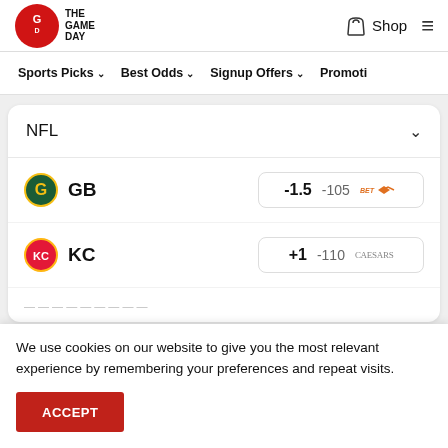THE GAME DAY — Shop — Menu
Sports Picks  Best Odds  Signup Offers  Promoti...
| Team | Spread | Odds | Book |
| --- | --- | --- | --- |
| GB | -1.5 | -105 | BetRivers |
| KC | +1 | -110 | Caesars |
We use cookies on our website to give you the most relevant experience by remembering your preferences and repeat visits.
ACCEPT